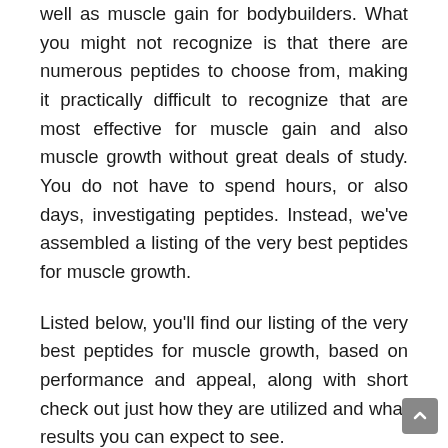well as muscle gain for bodybuilders. What you might not recognize is that there are numerous peptides to choose from, making it practically difficult to recognize that are most effective for muscle gain and also muscle growth without great deals of study. You do not have to spend hours, or also days, investigating peptides. Instead, we've assembled a listing of the very best peptides for muscle growth.
Listed below, you'll find our listing of the very best peptides for muscle growth, based on performance and appeal, along with short check out just how they are utilized and what results you can expect to see.